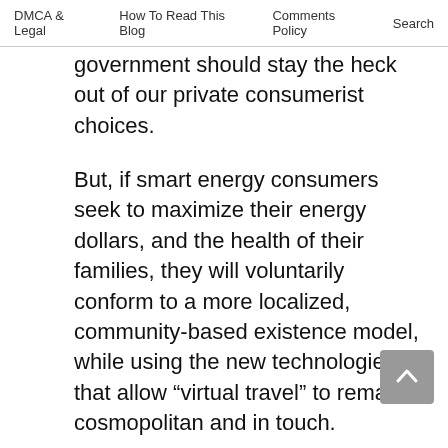DMCA & Legal   How To Read This Blog   Comments Policy   Search
government should stay the heck out of our private consumerist choices.
But, if smart energy consumers seek to maximize their energy dollars, and the health of their families, they will voluntarily conform to a more localized, community-based existence model, while using the new technologies that allow “virtual travel” to remain cosmopolitan and in touch.
I recall your post on air-cars and my thoughts on the matter. I believe a little less migrancy might be good for our communities, families, churches and eventually our nation’s well-being. The